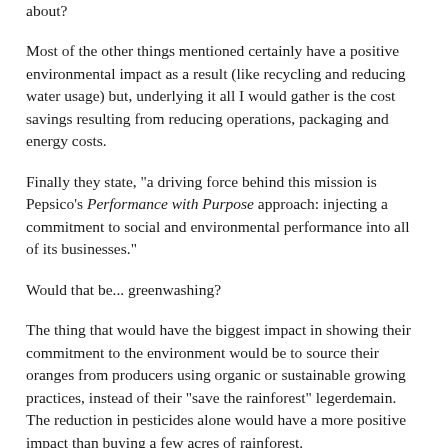about?
Most of the other things mentioned certainly have a positive environmental impact as a result (like recycling and reducing water usage) but, underlying it all I would gather is the cost savings resulting from reducing operations, packaging and energy costs.
Finally they state, "a driving force behind this mission is Pepsico's Performance with Purpose approach: injecting a commitment to social and environmental performance into all of its businesses."
Would that be... greenwashing?
The thing that would have the biggest impact in showing their commitment to the environment would be to source their oranges from producers using organic or sustainable growing practices, instead of their "save the rainforest" legerdemain. The reduction in pesticides alone would have a more positive impact than buying a few acres of rainforest.
But, that would make their product more expensive and they would lose market share. You see, a half gallon of Organic Valley Orange Juice (in my area) is $5.99. It'll cost ya $6.99 if you like pulp. Compare this to the